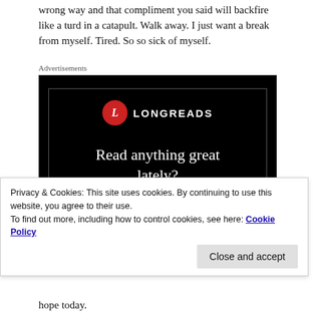wrong way and that compliment you said will backfire like a turd in a catapult. Walk away. I just want a break from myself. Tired. So so sick of myself.
Advertisements
[Figure (other): Longreads advertisement banner with black background, red circular logo with 'L', text reading 'Read anything great lately?' and a red 'Start reading' button.]
Privacy & Cookies: This site uses cookies. By continuing to use this website, you agree to their use.
To find out more, including how to control cookies, see here: Cookie Policy
hope today.